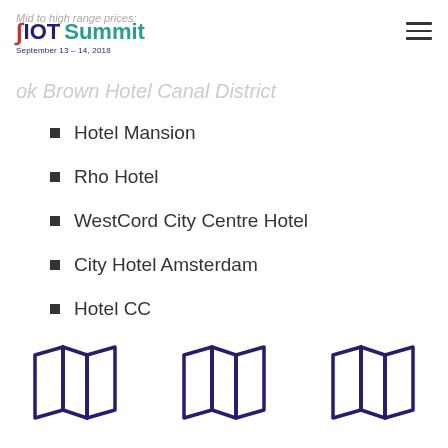Mid to high range prices:
Riot Summit September 13 – 14, 2018
ok Brown Hotel Canal District
Hotel Mansion
Rho Hotel
WestCord City Centre Hotel
City Hotel Amsterdam
Hotel CC
[Figure (illustration): Three map/fold icons in purple arranged horizontally at the bottom of the page]